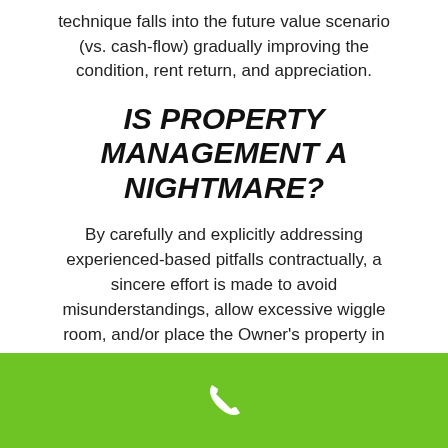technique falls into the future value scenario (vs. cash-flow) gradually improving the condition, rent return, and appreciation.
IS PROPERTY MANAGEMENT A NIGHTMARE?
By carefully and explicitly addressing experienced-based pitfalls contractually, a sincere effort is made to avoid misunderstandings, allow excessive wiggle room, and/or place the Owner's property in jeopardy.
My Rental Agreements are lengthy, include as many as 9 addendums, incorporate
[Figure (other): Green footer bar with a white phone/call icon centered]